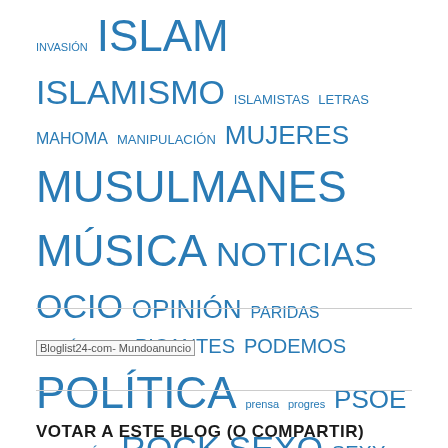INVASIÓN ISLAM ISLAMISMO ISLAMISTAS LETRAS MAHOMA MANIPULACIÓN MUJERES MUSULMANES MÚSICA NOTICIAS OCIO OPINIÓN PARIDAS PARÁSITOS PICANTES PODEMOS POLÍTICA prensa progres PSOE RELIGIÓN ROCK SEXO SEXY SHARIA SÁTIRA TEMAS TERRORISMO TERRORISTAS textos TOTALITARISMO USA VERDES VIDEO VIDEOCLIPS VIDEOS VIÑETAS YIHAD yihadismo
[Figure (other): Bloglist24-com- Mundoanuncio image placeholder]
VOTAR A ESTE BLOG (O COMPARTIR)